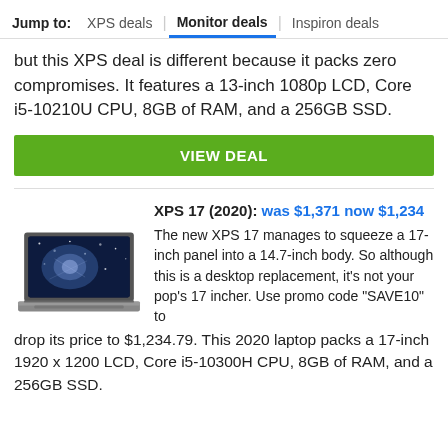Jump to: XPS deals | Monitor deals | Inspiron deals
but this XPS deal is different because it packs zero compromises. It features a 13-inch 1080p LCD, Core i5-10210U CPU, 8GB of RAM, and a 256GB SSD.
VIEW DEAL
XPS 17 (2020): was $1,371 now $1,234
[Figure (photo): Dell XPS 17 laptop open at an angle showing the display]
The new XPS 17 manages to squeeze a 17-inch panel into a 14.7-inch body. So although this is a desktop replacement, it's not your pop's 17 incher. Use promo code "SAVE10" to drop its price to $1,234.79. This 2020 laptop packs a 17-inch 1920 x 1200 LCD, Core i5-10300H CPU, 8GB of RAM, and a 256GB SSD.